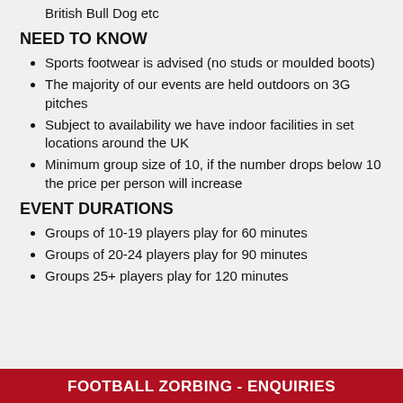British Bull Dog etc
NEED TO KNOW
Sports footwear is advised (no studs or moulded boots)
The majority of our events are held outdoors on 3G pitches
Subject to availability we have indoor facilities in set locations around the UK
Minimum group size of 10, if the number drops below 10 the price per person will increase
EVENT DURATIONS
Groups of 10-19 players play for 60 minutes
Groups of 20-24 players play for 90 minutes
Groups 25+ players play for 120 minutes
FOOTBALL ZORBING - ENQUIRIES